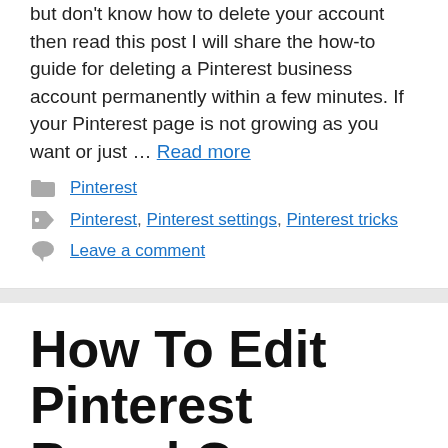but don't know how to delete your account then read this post I will share the how-to guide for deleting a Pinterest business account permanently within a few minutes. If your Pinterest page is not growing as you want or just … Read more
Pinterest (category)
Pinterest, Pinterest settings, Pinterest tricks (tags)
Leave a comment
How To Edit Pinterest Board Cover And Add